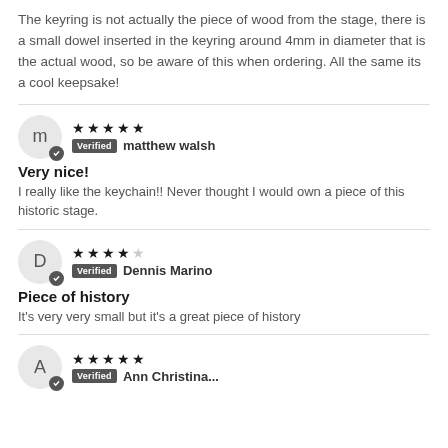The keyring is not actually the piece of wood from the stage, there is a small dowel inserted in the keyring around 4mm in diameter that is the actual wood, so be aware of this when ordering. All the same its a cool keepsake!
m — Verified — matthew walsh
★★★★★
Very nice!
I really like the keychain!! Never thought I would own a piece of this historic stage.
D — Verified — Dennis Marino
★★★★☆
Piece of history
It's very very small but it's a great piece of history
A — Verified — Ann Christina...